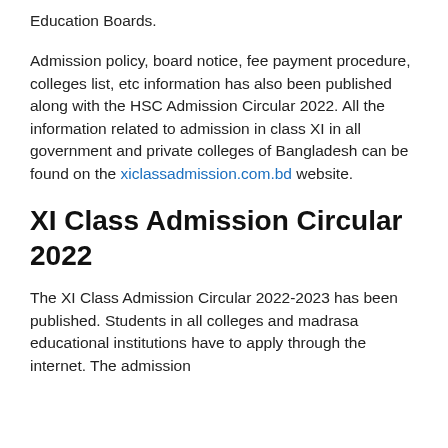Education Boards.
Admission policy, board notice, fee payment procedure, colleges list, etc information has also been published along with the HSC Admission Circular 2022. All the information related to admission in class XI in all government and private colleges of Bangladesh can be found on the xiclassadmission.com.bd website.
XI Class Admission Circular 2022
The XI Class Admission Circular 2022-2023 has been published. Students in all colleges and madrasa educational institutions have to apply through the internet. The admission